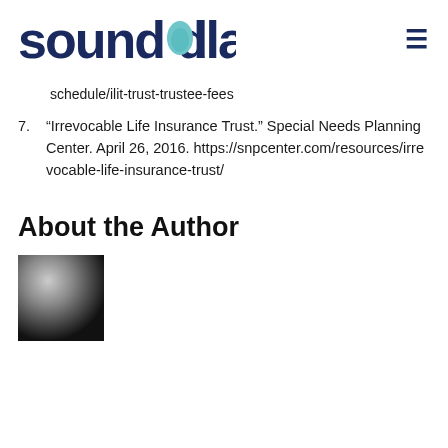sound dollar
schedule/ilit-trust-trustee-fees
7. “Irrevocable Life Insurance Trust.” Special Needs Planning Center. April 26, 2016. https://snpcenter.com/resources/irrevocable-life-insurance-trust/
About the Author
[Figure (photo): Author photo placeholder (blurred/grayscale square image)]